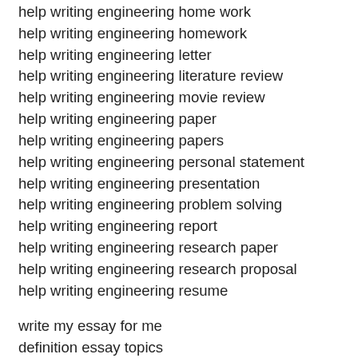help writing engineering home work
help writing engineering homework
help writing engineering letter
help writing engineering literature review
help writing engineering movie review
help writing engineering paper
help writing engineering papers
help writing engineering personal statement
help writing engineering presentation
help writing engineering problem solving
help writing engineering report
help writing engineering research paper
help writing engineering research proposal
help writing engineering resume
write my essay for me
definition essay topics
college paper writing service
narrative essay topics
paper writing service
write my research paper
how to write a show title in an essay
introduction essay review